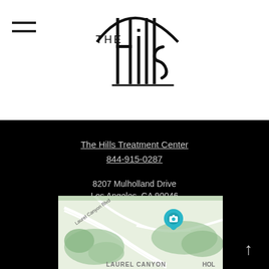[Figure (logo): The Hills logo with stylized tall letters forming hills silhouette, text THE Hills in black on white background]
The Hills Treatment Center
844-915-0287
8207 Mulholland Drive
Los Angeles, CA 90046
[Figure (map): Google Maps screenshot showing Laurel Canyon area in Los Angeles with green park areas, white roads, location pin marker in teal/cyan, and LAUREL CANYON label at bottom]